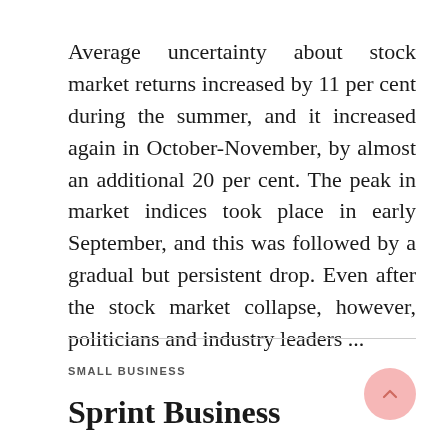Average uncertainty about stock market returns increased by 11 per cent during the summer, and it increased again in October-November, by almost an additional 20 per cent. The peak in market indices took place in early September, and this was followed by a gradual but persistent drop. Even after the stock market collapse, however, politicians and industry leaders ...
SMALL BUSINESS
Sprint Business